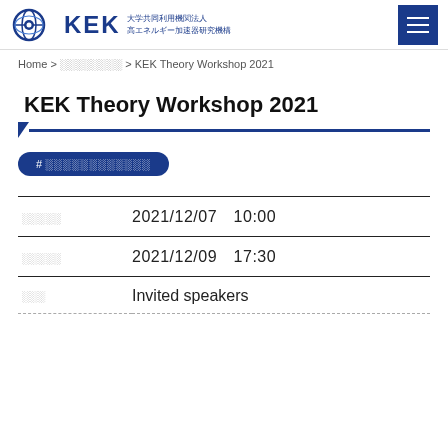KEK 大学共同利用機関法人 高エネルギー加速器研究機構
Home > ░░░░░░░░ > KEK Theory Workshop 2021
KEK Theory Workshop 2021
# ░░░░░░░░░░░░
|  |  |
| --- | --- |
| ░░░░░ | 2021/12/07  10:00 |
| ░░░░░ | 2021/12/09  17:30 |
| ░░░ | Invited speakers |